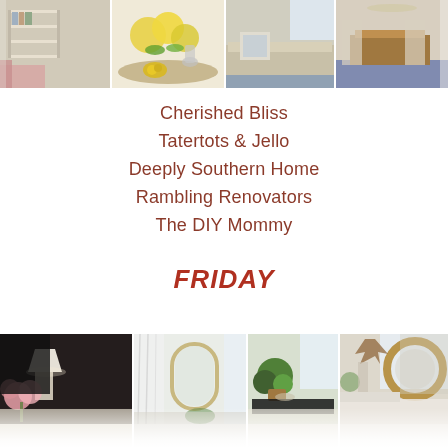[Figure (photo): Four home decor interior photos arranged in a horizontal strip at the top: bookshelf with decor, table with yellow flowers and lemons, living room with sofa, dining room with blue rug and wooden furniture.]
Cherished Bliss
Tatertots & Jello
Deeply Southern Home
Rambling Renovators
The DIY Mommy
FRIDAY
[Figure (photo): Four home decor interior photos arranged in a horizontal strip at the bottom: dark moody room with lamp and flowers, white room with mirror and curtains, bright living room with plants and coffee table, airy room with round wicker mirror and white couches.]